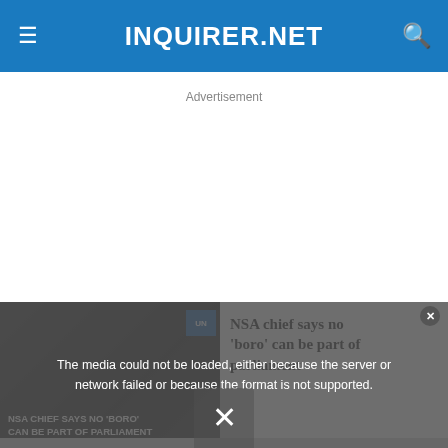INQUIRER.NET
Advertisement
[Figure (screenshot): Video thumbnail showing people, with text overlay: NSA CHIEF SAYS NO 'BORO' CAN BE PART OF PARLIAMENT. A media error overlay reads: The media could not be loaded, either because the server or network failed or because the format is not supported.]
NSA chief says no 'boro' can be part of parliament